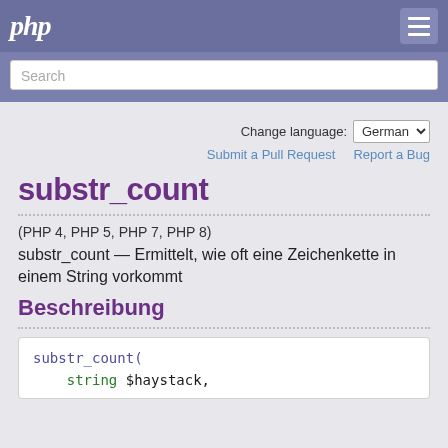php
Search
Change language: German
Submit a Pull Request   Report a Bug
substr_count
(PHP 4, PHP 5, PHP 7, PHP 8)
substr_count — Ermittelt, wie oft eine Zeichenkette in einem String vorkommt
Beschreibung
substr_count(
    string $haystack,